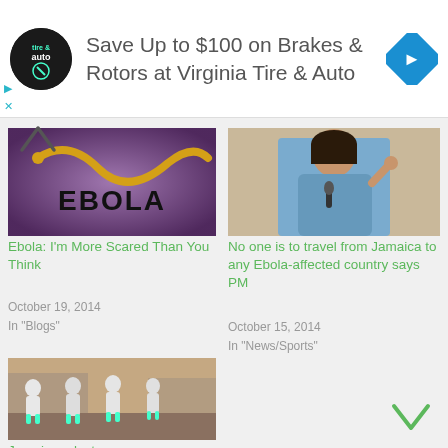[Figure (other): Advertisement banner: Virginia Tire & Auto logo (circular black logo), text 'Save Up to $100 on Brakes & Rotors at Virginia Tire & Auto', and a blue diamond navigation icon on the right. Small play and X icons on the left.]
[Figure (photo): Ebola virus microscope image with yellow snake-like strand on purple background, text overlay 'EBOLA' in bold black letters]
Ebola: I'm More Scared Than You Think
October 19, 2014
In "Blogs"
[Figure (photo): Woman in blue jacket speaking at a microphone, raising her index finger]
No one is to travel from Jamaica to any Ebola-affected country says PM
October 15, 2014
In "News/Sports"
[Figure (photo): Healthcare workers in white hazmat suits walking in a line outdoors]
Jamaican doctors say